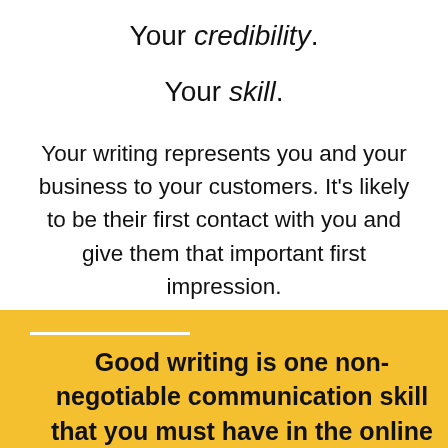Your credibility.
Your skill.
Your writing represents you and your business to your customers. It’s likely to be their first contact with you and give them that important first impression.
Good writing is one non-negotiable communication skill that you must have in the online